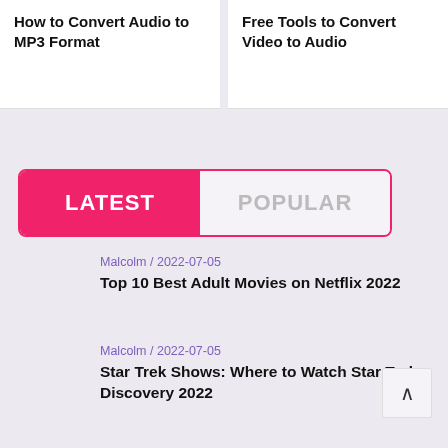How to Convert Audio to MP3 Format
Free Tools to Convert Video to Audio
LATEST
POPULAR
Malcolm / 2022-07-05
Top 10 Best Adult Movies on Netflix 2022
Malcolm / 2022-07-05
Star Trek Shows: Where to Watch Star Trek Discovery 2022